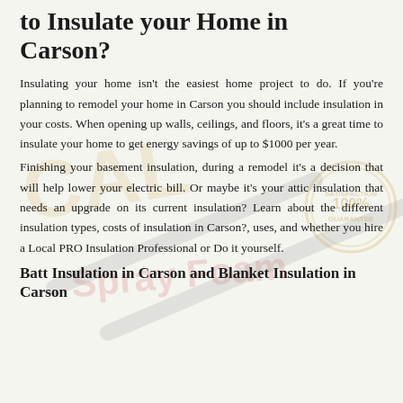to Insulate your Home in Carson?
Insulating your home isn't the easiest home project to do. If you're planning to remodel your home in Carson you should include insulation in your costs. When opening up walls, ceilings, and floors, it's a great time to insulate your home to get energy savings of up to $1000 per year.
Finishing your basement insulation, during a remodel it's a decision that will help lower your electric bill. Or maybe it's your attic insulation that needs an upgrade on its current insulation? Learn about the different insulation types, costs of insulation in Carson?, uses, and whether you hire a Local PRO Insulation Professional or Do it yourself.
Batt Insulation in Carson and Blanket Insulation in Carson